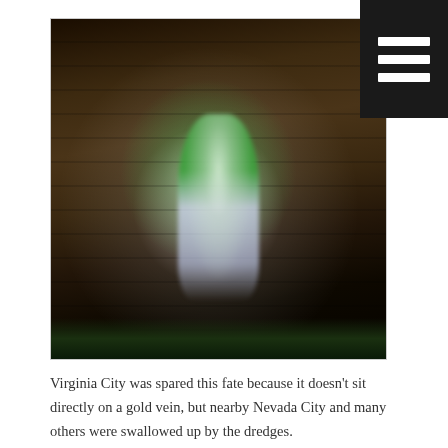[Figure (photo): A blurry nighttime photograph of a person in a green shirt and light shorts standing against a wooden barn or cabin wall. The image has a ghostly, motion-blurred quality with a bright light source illuminating the subject against dark wooden planks.]
Virginia City was spared this fate because it doesn't sit directly on a gold vein, but nearby Nevada City and many others were swallowed up by the dredges.